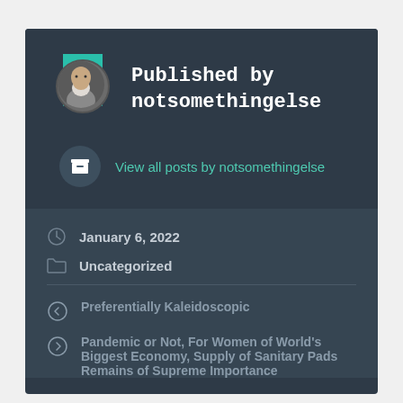Published by notsomethingelse
View all posts by notsomethingelse
January 6, 2022
Uncategorized
Preferentially Kaleidoscopic
Pandemic or Not, For Women of World's Biggest Economy, Supply of Sanitary Pads Remains of Supreme Importance